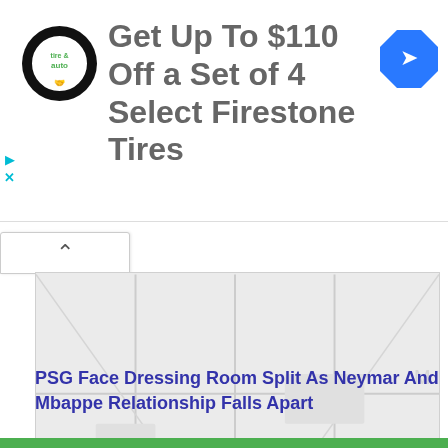[Figure (screenshot): Advertisement banner: Firestone Tire & Auto logo on the left, navigation arrow icon on the right, with text 'Get Up To $110 Off a Set of 4 Select Firestone Tires']
Get Up To $110 Off a Set of 4 Select Firestone Tires
[Figure (map): Faint/washed-out map image area showing street map with very light gray road lines and markers]
PSG Face Dressing Room Split As Neymar And Mbappe Relationship Falls Apart